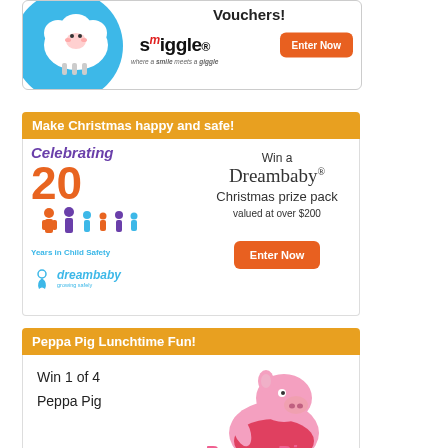[Figure (illustration): Smiggle advertisement banner with blue circular background, Smiggle logo and 'where a smile meets a giggle' tagline, 'Vouchers!' text, and orange 'Enter Now' button]
[Figure (illustration): Dreambaby advertisement with orange header 'Make Christmas happy and safe!', celebrating 20 years in child safety logo, purple cursive text, illustrated family figures, Dreambaby logo, 'Win a Dreambaby Christmas prize pack valued at over $200' text, and orange 'Enter Now' button]
[Figure (illustration): Peppa Pig Lunchtime Fun advertisement with orange header, 'Win 1 of 4' text and Peppa Pig character illustration]